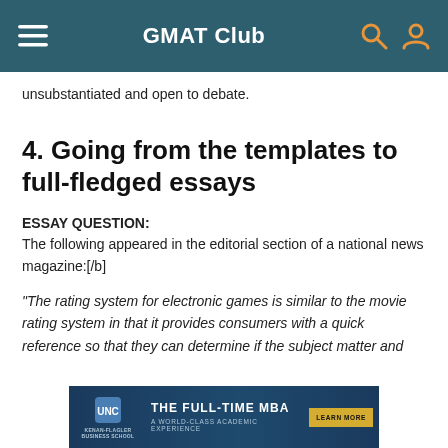GMAT Club
unsubstantiated and open to debate.
4. Going from the templates to full-fledged essays
ESSAY QUESTION:
The following appeared in the editorial section of a national news magazine:[/b]
"The rating system for electronic games is similar to the movie rating system in that it provides consumers with a quick reference so that they can determine if the subject matter and
[Figure (other): UNC Kenan-Flagler Business School advertisement banner: THE FULL-TIME MBA - A WORLD-CLASS ACADEMIC EXPERIENCE with LEARN MORE button]